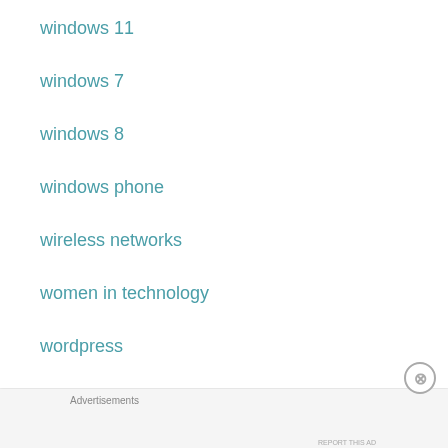windows 11
windows 7
windows 8
windows phone
wireless networks
women in technology
wordpress
youtube
Advertisements
[Figure (screenshot): Advertisement banner: 'The Platform Where WordPress Works Best' — Pressable]